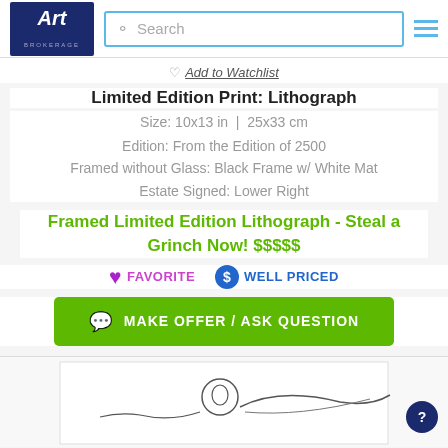Art Brokerage — Search bar — Menu
♡ Add to Watchlist
Limited Edition Print: Lithograph
Size: 10x13 in  |  25x33 cm
Edition: From the Edition of 2500
Framed without Glass: Black Frame w/ White Mat
Estate Signed: Lower Right
Framed Limited Edition Lithograph - Steal a Grinch Now! $$$$$
♥ FAVORITE   $ WELL PRICED
MAKE OFFER / ASK QUESTION
[Figure (illustration): Partial view of a Grinch-themed artwork at the bottom of the page]